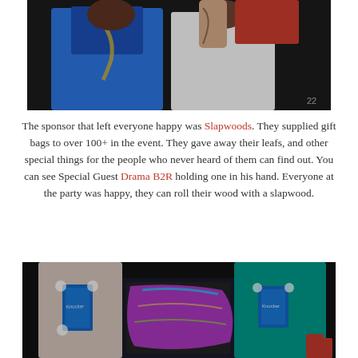[Figure (photo): Two men posing at a party event; one wearing a blue shirt with gold chain, the other in a white t-shirt with tattoos, holding a red box overhead.]
The sponsor that left everyone happy was Slapwoods. They supplied gift bags to over 100+ in the event. They gave away their leafs, and other special things for the people who never heard of them can find out. You can see Special Guest Drama B2R holding one in his hand. Everyone at the party was happy, they can roll their wood with a slapwood.
[Figure (photo): Two men seen from behind at a party; one in light pink shirt and one in teal shirt, both with branded patches on their backs, standing at a colorful event table.]